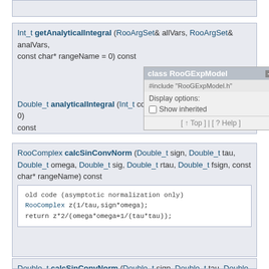(top box remnant)
Int_t getAnalyticalIntegral (RooArgSet& allVars, RooArgSet& analVars, const char* rangeName = 0) const
[Figure (screenshot): Popup overlay showing class RooGExpModel with include path #include "RooGExpModel.h", Display options: Show inherited checkbox, and navigation links [ ↑ Top ] | [ ? Help ]]
Double_t analyticalIntegral (Int_t code, const char* rangeName = 0) const
RooComplex calcSinConvNorm (Double_t sign, Double_t tau, Double_t omega, Double_t sig, Double_t rtau, Double_t fsign, const char* rangeName) const
old code (asymptotic normalization only)
RooComplex z(1/tau,sign*omega);
return z*2/(omega*omega+1/(tau*tau));
Double_t calcSinConvNorm (Double_t sign, Double_t tau, Double_t sig, Double_t rtau, Double_t fsign, const char* rangeName) const